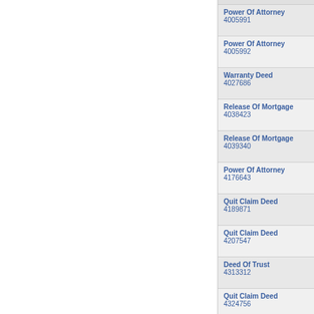Power Of Attorney
4005991
Power Of Attorney
4005992
Warranty Deed
4027686
Release Of Mortgage
4038423
Release Of Mortgage
4039340
Power Of Attorney
4176643
Quit Claim Deed
4189871
Quit Claim Deed
4207547
Deed Of Trust
4313312
Quit Claim Deed
4324756
Judgment
4335022
Quit Claim Deed
4351776